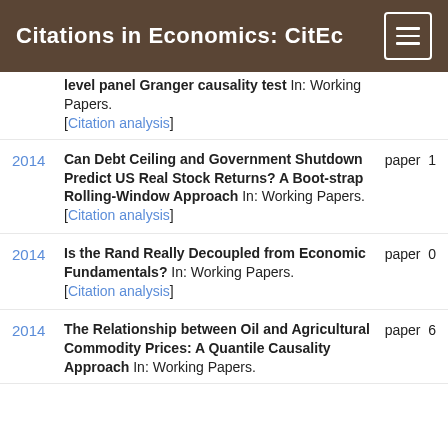Citations in Economics: CitEc
level panel Granger causality test In: Working Papers. [Citation analysis]
2014 Can Debt Ceiling and Government Shutdown Predict US Real Stock Returns? A Boot-strap Rolling-Window Approach In: Working Papers. [Citation analysis] paper 1
2014 Is the Rand Really Decoupled from Economic Fundamentals? In: Working Papers. [Citation analysis] paper 0
2014 The Relationship between Oil and Agricultural Commodity Prices: A Quantile Causality Approach In: Working Papers. paper 6